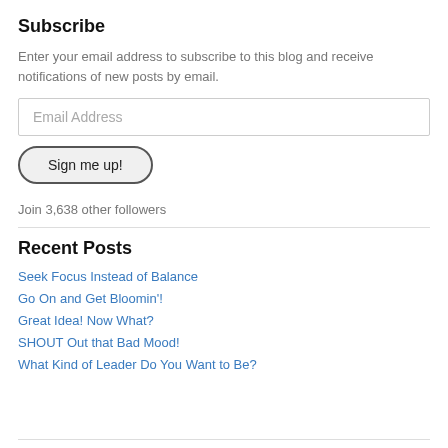Subscribe
Enter your email address to subscribe to this blog and receive notifications of new posts by email.
Email Address
Sign me up!
Join 3,638 other followers
Recent Posts
Seek Focus Instead of Balance
Go On and Get Bloomin'!
Great Idea! Now What?
SHOUT Out that Bad Mood!
What Kind of Leader Do You Want to Be?